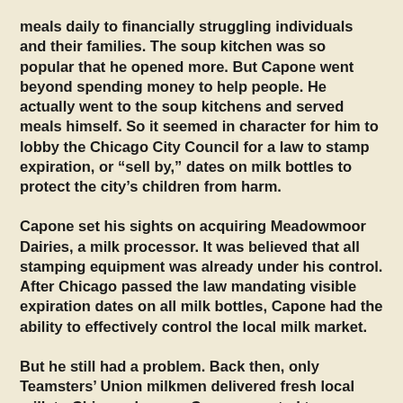meals daily to financially struggling individuals and their families. The soup kitchen was so popular that he opened more. But Capone went beyond spending money to help people. He actually went to the soup kitchens and served meals himself. So it seemed in character for him to lobby the Chicago City Council for a law to stamp expiration, or “sell by,” dates on milk bottles to protect the city’s children from harm.
Capone set his sights on acquiring Meadowmoor Dairies, a milk processor. It was believed that all stamping equipment was already under his control. After Chicago passed the law mandating visible expiration dates on all milk bottles, Capone had the ability to effectively control the local milk market.
But he still had a problem. Back then, only Teamsters’ Union milkmen delivered fresh local milk to Chicago homes. Capone wanted to use nonunion truckers to deliver less expensive, imported milk from Wisconsin. When he couldn’t work out a deal to make that happen, he had the union’s president kidnapped. With the